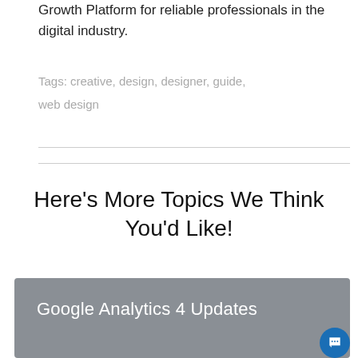Growth Platform for reliable professionals in the digital industry.
Tags: creative, design, designer, guide, web design
Here's More Topics We Think You'd Like!
[Figure (other): Gray card with white text reading 'Google Analytics 4 Updates']